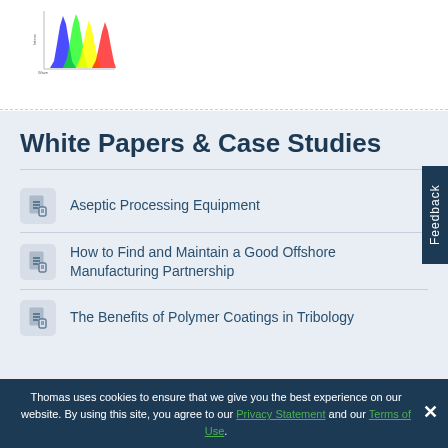[Figure (continuous-plot): Small thumbnail of a spectral emission chart with colored peaks (blue, green, yellow, red) on a white background with axis labels]
White Papers & Case Studies
Aseptic Processing Equipment
How to Find and Maintain a Good Offshore Manufacturing Partnership
The Benefits of Polymer Coatings in Tribology
Thomas uses cookies to ensure that we give you the best experience on our website. By using this site, you agree to our Privacy Statement and our Terms of Use.